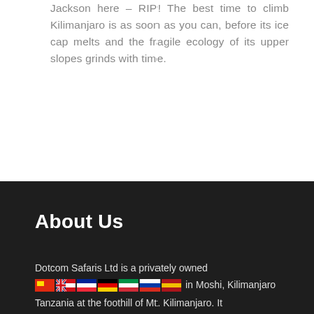Jackson here – RIP! The best time to climb Kilimanjaro is as soon as you can, before its ice cap melts and the fragile ecology of its upper slopes grinds with time.
About Us
Dotcom Safaris Ltd is a privately owned [flags] in Moshi, Kilimanjaro Tanzania at the foothill of Mt. Kilimanjaro. It